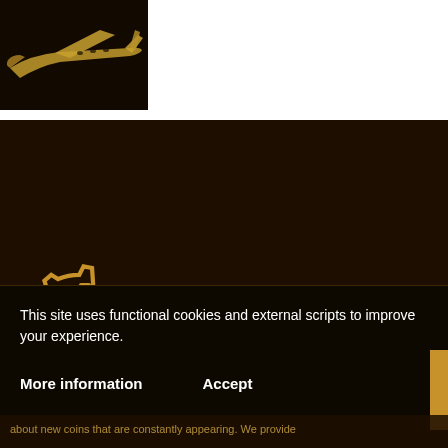[Figure (photo): Partial image of a gold private jet aircraft against a dark background, cropped at top]
[Figure (logo): Coinatory logo: gold gear/cog icon with letter C inside, followed by text COINATORY in gold on dark brown background]
This site uses functional cookies and external scripts to improve your experience.
More information
Accept
about new coins that are constantly appearing. We provide